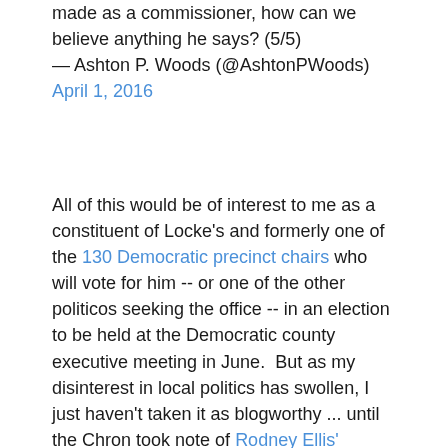made as a commissioner, how can we believe anything he says? (5/5)
— Ashton P. Woods (@AshtonPWoods) April 1, 2016
All of this would be of interest to me as a constituent of Locke's and formerly one of the 130 Democratic precinct chairs who will vote for him -- or one of the other politicos seeking the office -- in an election to be held at the Democratic county executive meeting in June.  But as my disinterest in local politics has swollen, I just haven't taken it as blogworthy ... until the Chron took note of Rodney Ellis' lucrative bond lawyering over the recent decades, and the various ethical dilemmas one can find oneself tangled in (if ethics is ever a concern, that is).
Over the past 26 years, state Sen. Rodney Ellis, D-Houston, has voted to confirm gubernatorial appointments to the Lower Colorado River Authority, a powerful electric utility in Central Texas. During the same time, financial firms he...